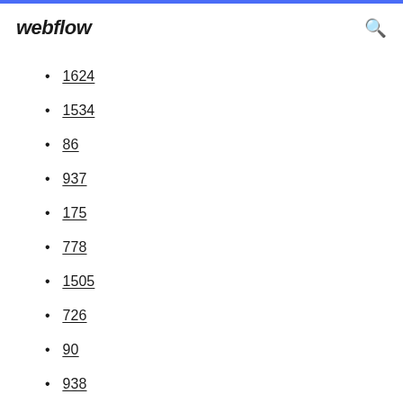webflow
1624
1534
86
937
175
778
1505
726
90
938
984
450